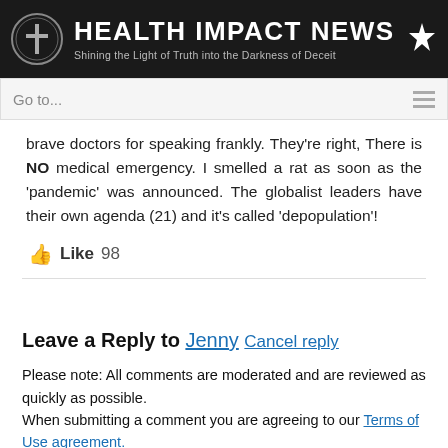[Figure (logo): Health Impact News logo with dark background, circular cross icon on left, star on right, title 'HEALTH IMPACT NEWS', subtitle 'Shining the Light of Truth into the Darkness of Deceit']
Go to...
brave doctors for speaking frankly. They're right, There is NO medical emergency. I smelled a rat as soon as the 'pandemic' was announced. The globalist leaders have their own agenda (21) and it's called 'depopulation'!
Like 98
Leave a Reply to Jenny Cancel reply
Please note: All comments are moderated and are reviewed as quickly as possible.
When submitting a comment you are agreeing to our Terms of Use agreement.